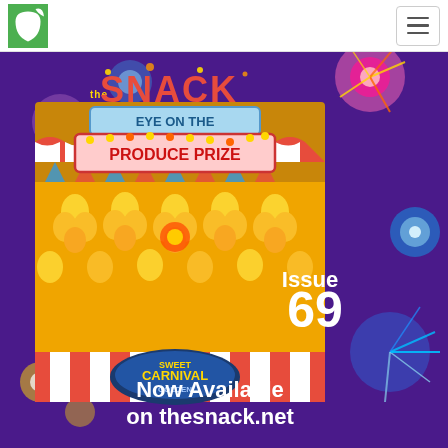The Snack — site header with logo and navigation menu
[Figure (illustration): Promotional banner image for The Snack magazine Issue 69. Shows a carnival booth with red and white striped awning, golden grapes displayed as prizes. Text overlay reads 'Eye On The Produce Prize'. A magazine cover is shown with carnival theme. 'Issue 69' text appears in white bold lettering. Bottom reads 'Now Available on thesnack.net'. Background features colorful fireworks on purple sky.]